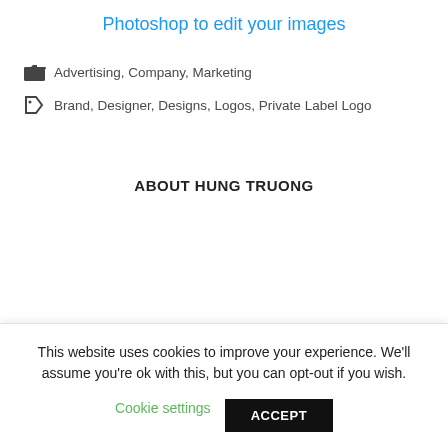Photoshop to edit your images
Advertising, Company, Marketing
Brand, Designer, Designs, Logos, Private Label Logo
ABOUT HUNG TRUONG
This website uses cookies to improve your experience. We'll assume you're ok with this, but you can opt-out if you wish.
Cookie settings   ACCEPT